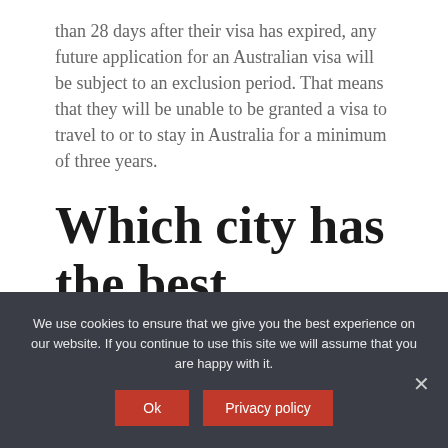than 28 days after their visa has expired, any future application for an Australian visa will be subject to an exclusion period. That means that they will be unable to be granted a visa to travel to or to stay in Australia for a minimum of three years.
Which city has the best climate in Australia?
We use cookies to ensure that we give you the best experience on our website. If you continue to use this site we will assume that you are happy with it.